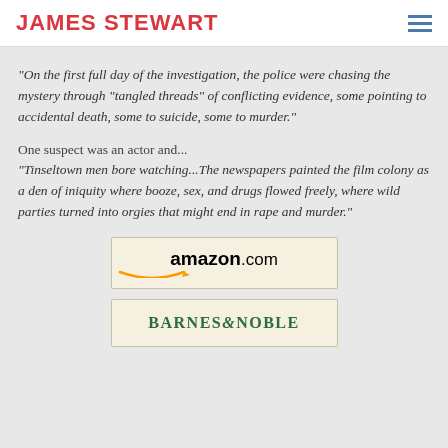JAMES STEWART
"On the first full day of the investigation, the police were chasing the mystery through "tangled threads" of conflicting evidence, some pointing to accidental death, some to suicide, some to murder."
One suspect was an actor and...
"Tinseltown men bore watching...The newspapers painted the film colony as a den of iniquity where booze, sex, and drugs flowed freely, where wild parties turned into orgies that might end in rape and murder."
[Figure (logo): Amazon.com logo button]
[Figure (logo): Barnes & Noble logo button]